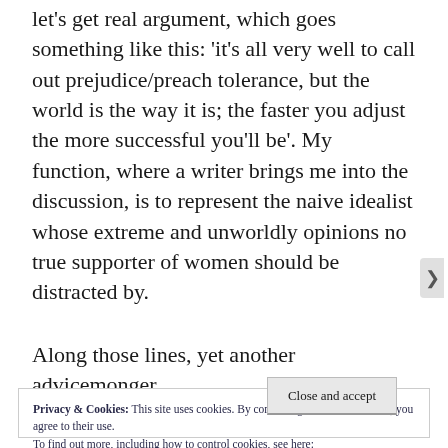let's get real argument, which goes something like this: 'it's all very well to call out prejudice/preach tolerance, but the world is the way it is; the faster you adjust the more successful you'll be'. My function, where a writer brings me into the discussion, is to represent the naive idealist whose extreme and unworldly opinions no true supporter of women should be distracted by.
Along those lines, yet another advicemonger
Privacy & Cookies: This site uses cookies. By continuing to use this website, you agree to their use.
To find out more, including how to control cookies, see here: Cookie Policy